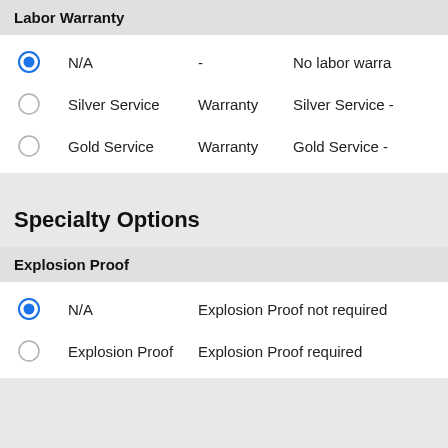Labor Warranty
N/A - No labor warra…
Silver Service Warranty Silver Service -
Gold Service Warranty Gold Service -
Specialty Options
Explosion Proof
N/A Explosion Proof not required
Explosion Proof Explosion Proof required